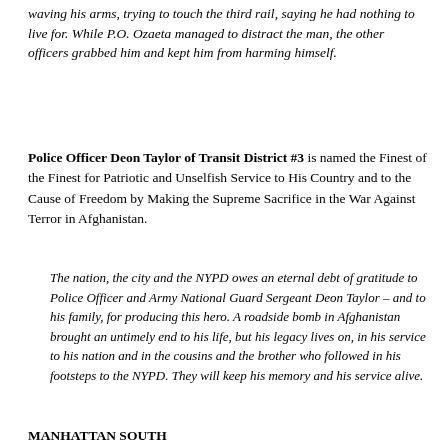waving his arms, trying to touch the third rail, saying he had nothing to live for. While P.O. Ozaeta managed to distract the man, the other officers grabbed him and kept him from harming himself.
Police Officer Deon Taylor of Transit District #3 is named the Finest of the Finest for Patriotic and Unselfish Service to His Country and to the Cause of Freedom by Making the Supreme Sacrifice in the War Against Terror in Afghanistan.
The nation, the city and the NYPD owes an eternal debt of gratitude to Police Officer and Army National Guard Sergeant Deon Taylor – and to his family, for producing this hero. A roadside bomb in Afghanistan brought an untimely end to his life, but his legacy lives on, in his service to his nation and in the cousins and the brother who followed in his footsteps to the NYPD. They will keep his memory and his service alive.
MANHATTAN SOUTH